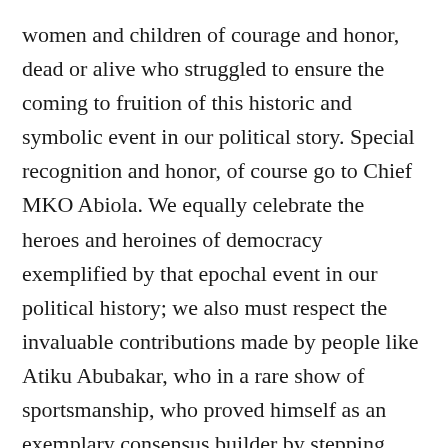women and children of courage and honor, dead or alive who struggled to ensure the coming to fruition of this historic and symbolic event in our political story. Special recognition and honor, of course go to Chief MKO Abiola. We equally celebrate the heroes and heroines of democracy exemplified by that epochal event in our political history; we also must respect the invaluable contributions made by people like Atiku Abubakar, who in a rare show of sportsmanship, who proved himself as an exemplary consensus builder by stepping down for Chief M.K.O. Abiola at the historic National Convention of the Social Democratic Party (SDP) in Jos. Plateau